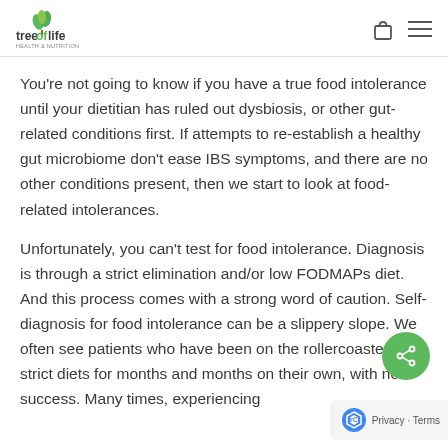Tree of Life logo with navigation icons
You’re not going to know if you have a true food intolerance until your dietitian has ruled out dysbiosis, or other gut-related conditions first. If attempts to re-establish a healthy gut microbiome don’t ease IBS symptoms, and there are no other conditions present, then we start to look at food-related intolerances.
Unfortunately, you can’t test for food intolerance. Diagnosis is through a strict elimination and/or low FODMAPs diet. And this process comes with a strong word of caution. Self-diagnosis for food intolerance can be a slippery slope. We often see patients who have been on the rollercoaster of strict diets for months and months on their own, with no success. Many times, experiencing